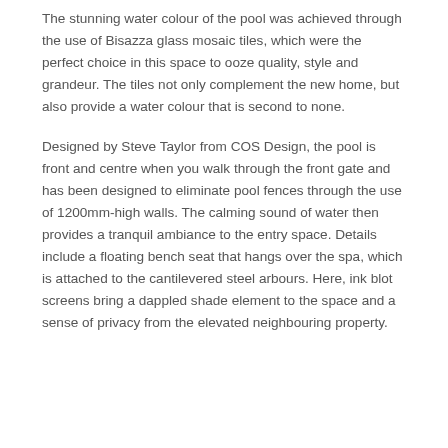The stunning water colour of the pool was achieved through the use of Bisazza glass mosaic tiles, which were the perfect choice in this space to ooze quality, style and grandeur. The tiles not only complement the new home, but also provide a water colour that is second to none.
Designed by Steve Taylor from COS Design, the pool is front and centre when you walk through the front gate and has been designed to eliminate pool fences through the use of 1200mm-high walls. The calming sound of water then provides a tranquil ambiance to the entry space. Details include a floating bench seat that hangs over the spa, which is attached to the cantilevered steel arbours. Here, ink blot screens bring a dappled shade element to the space and a sense of privacy from the elevated neighbouring property.